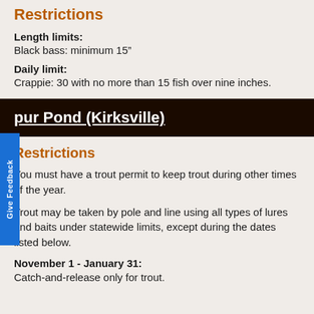Restrictions
Length limits:
Black bass: minimum 15"
Daily limit:
Crappie: 30 with no more than 15 fish over nine inches.
pur Pond (Kirksville)
Restrictions
You must have a trout permit to keep trout during other times of the year.
Trout may be taken by pole and line using all types of lures and baits under statewide limits, except during the dates listed below.
November 1 - January 31:
Catch-and-release only for trout.